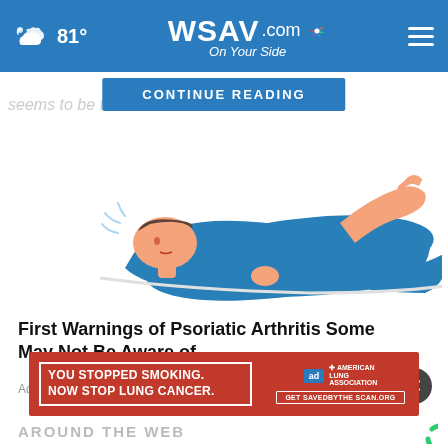81° WSAV.com On Your Side
CONTINUE READING
seems to be f
[Figure (illustration): Illustration of a person lying down in a blue outfit, appearing to be in pain or discomfort, associated with a Psoriatic Arthritis advertisement]
First Warnings of Psoriatic Arthritis Some May Not Be Aware of
Ad by Arthritis | Sponsored Links
[Figure (advertisement): Red banner advertisement reading: YOU STOPPED SMOKING. NOW STOP LUNG CANCER. with American Lung Association logo and Get SAVEDBYTHE SCAN.ORG call-to-action]
AROUND THE WEB